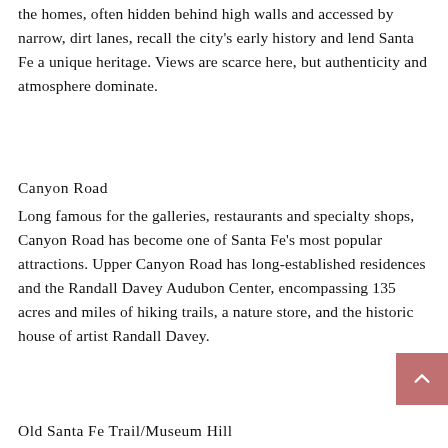the homes, often hidden behind high walls and accessed by narrow, dirt lanes, recall the city's early history and lend Santa Fe a unique heritage. Views are scarce here, but authenticity and atmosphere dominate.
Canyon Road
Long famous for the galleries, restaurants and specialty shops, Canyon Road has become one of Santa Fe's most popular attractions. Upper Canyon Road has long-established residences and the Randall Davey Audubon Center, encompassing 135 acres and miles of hiking trails, a nature store, and the historic house of artist Randall Davey.
Old Santa Fe Trail/Museum Hill